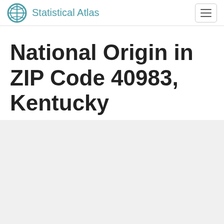Statistical Atlas
National Origin in ZIP Code 40983, Kentucky
(ZIP Code)